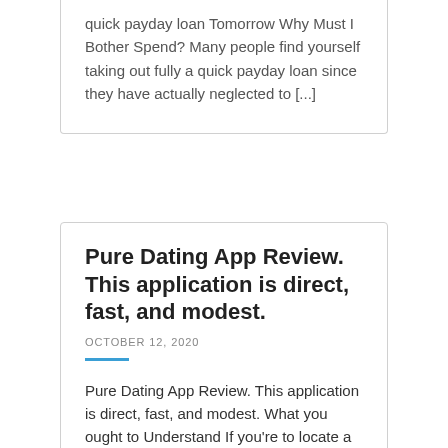quick payday loan Tomorrow Why Must I Bother Spend? Many people find yourself taking out fully a quick payday loan since they have actually neglected to [...]
Pure Dating App Review. This application is direct, fast, and modest.
OCTOBER 12, 2020
Pure Dating App Review. This application is direct, fast, and modest. What you ought to Understand If you're to locate a hookup then come closer, I want to just take you through the updated Pure [...]